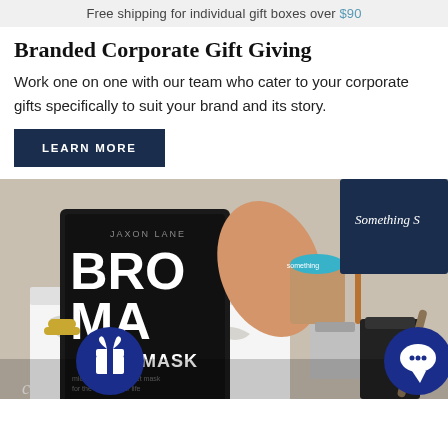Free shipping for individual gift boxes over $90
Branded Corporate Gift Giving
Work one on one with our team who cater to your corporate gifts specifically to suit your brand and its story.
LEARN MORE
[Figure (photo): Overhead photo of hands placing a Jaxon Lane Bro Mask skincare product and other items into a white gift box with crinkle paper filler. A navy blue gift box with cursive text is visible in the upper right. Two navy blue circular icons are overlaid at the bottom corners — a gift box icon on the left and a chat bubble icon on the right.]